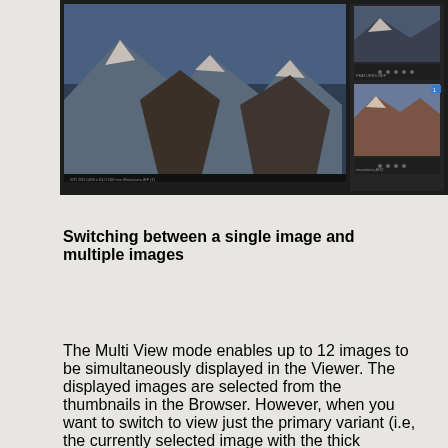[Figure (screenshot): Screenshot of a photo editing application (Capture One or similar) showing a mountain landscape photo in the main viewer with a panel on the right side showing thumbnails of mountain photos. The interface has a dark theme with image metadata shown at the bottom.]
Switching between a single image and multiple images
The Multi View mode enables up to 12 images to be simultaneously displayed in the Viewer. The displayed images are selected from the thumbnails in the Browser. However, when you want to switch to view just the primary variant (i.e, the currently selected image with the thick